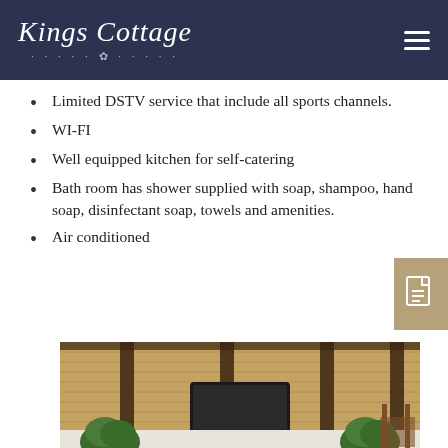Kings Cottage
Limited DSTV service that include all sports channels.
WI-FI
Well equipped kitchen for self-catering
Bath room has shower supplied with soap, shampoo, hand soap, disinfectant soap, towels and amenities.
Air conditioned
[Figure (photo): Interior room with thatched reed ceiling supported by dark wooden beams, wall-mounted flat screen TV, potted green plants on either side, white brick wall, and a wooden chair visible on the right.]